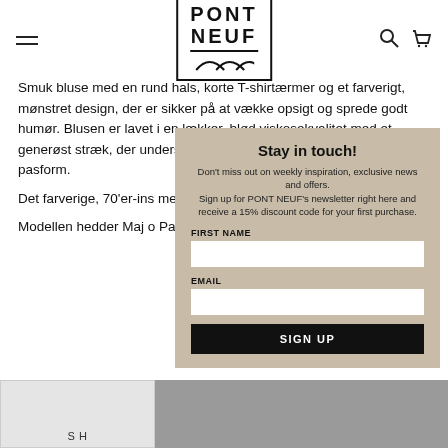PONT NEUF (logo with hamburger menu and search/cart icons)
Smuk bluse med en rund hals, korte T-shirtærmer og et farverigt, mønstret design, der er sikker på at vække opsigt og sprede godt humør. Blusen er lavet i en lækker, blød viskosekvalitet med et generøst stræk, der understreger den afslappede, A-formede pasform.
Det farverige, 70'er-ins... med et par løse bukser,
Modellen hedder Maj o... Pasformen er 'A-shape -
[Figure (screenshot): Newsletter signup modal overlay with beige background. Title: Stay in touch! Body: Don't miss out on weekly inspiration, exclusive news and offers. Sign up for PONT NEUF's newsletter right here and receive a 15% discount code for your first purchase. Fields: FIRST NAME, EMAIL. Button: SIGN UP.]
S H...